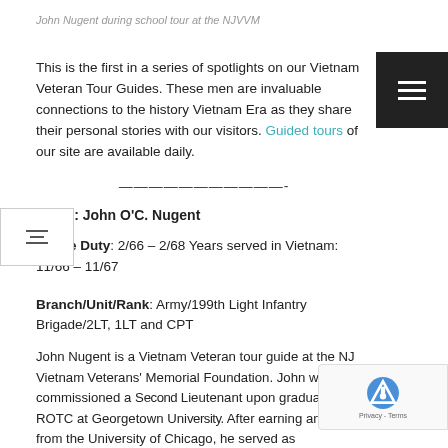John Nugent during school tour at the NJVVM
This is the first in a series of spotlights on our Vietnam Veteran Tour Guides. These men are invaluable connections to the history Vietnam Era as they share their personal stories with our visitors. Guided tours of our site are available daily.
———————————-
Name: John O'C. Nugent
Active Duty: 2/66 – 2/68 Years served in Vietnam: 11/66 – 11/67
Branch/Unit/Rank: Army/199th Light Infantry Brigade/2LT, 1LT and CPT
John Nugent is a Vietnam Veteran tour guide at the NJ Vietnam Veterans' Memorial Foundation. John was commissioned a Second Lieutenant upon graduation from ROTC at Georgetown University. After earning an MBA from the University of Chicago, he served as